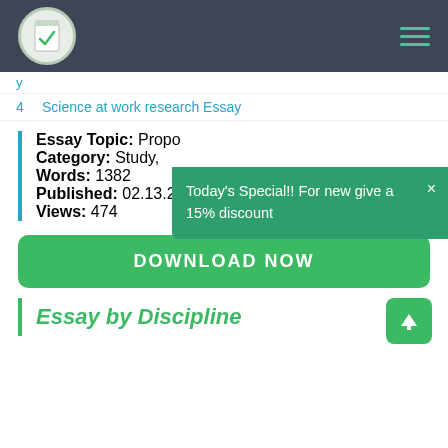[Figure (logo): Website logo: notebook with checkmark in a circle, on dark nav bar with hamburger menu icon]
4  Science at work research Essay
Essay Topic: Propo...
Category: Study,
Words: 1382
Published: 02.13.20
Views: 474
Today's Special!! For new give a 15% discount
DOWNLOAD NOW
Essay by Discipline